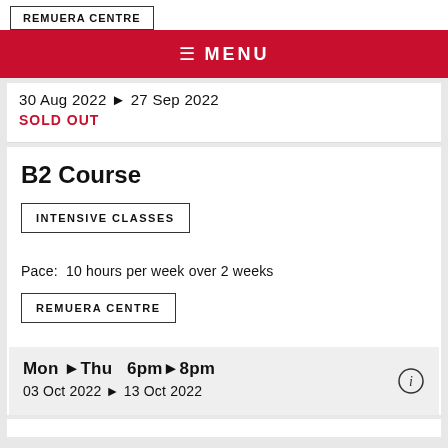REMUERA CENTRE
≡ MENU
30 Aug 2022 ▶ 27 Sep 2022
SOLD OUT
B2 Course
INTENSIVE CLASSES
Pace:  10 hours per week over 2 weeks
REMUERA CENTRE
Mon ▶Thu   6pm▶8pm
03 Oct 2022 ▶ 13 Oct 2022